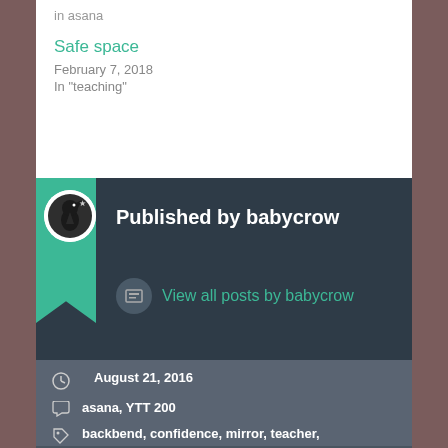in asana
Safe space
February 7, 2018
In "teaching"
Published by babycrow
View all posts by babycrow
August 21, 2016
asana, YTT 200
backbend, confidence, mirror, teacher, teaching, yoga, yoga teacher training, YTT